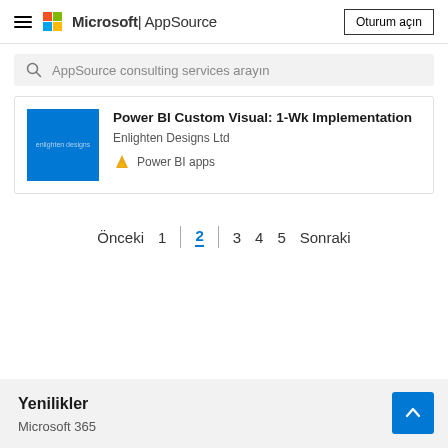Microsoft | AppSource — Oturum açın
AppSource consulting services arayın
Power BI Custom Visual: 1-Wk Implementation
Enlighten Designs Ltd
Power BI apps
Önceki  1  2  3  4  5  Sonraki
Yenilikler
Microsoft 365